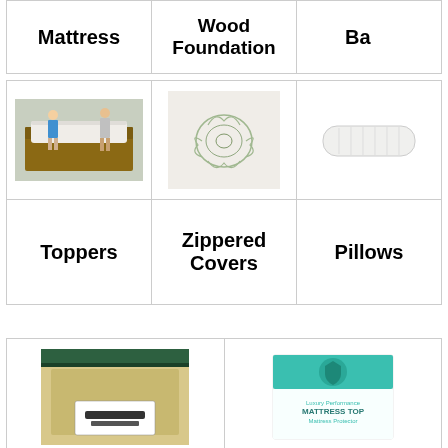| Mattress | Wood Foundation | Bas... |
| --- | --- | --- |
| [image: mattress] | [image: zippered cover] | [image: pillow] |
| Toppers | Zippered Covers | Pillows |
[Figure (photo): Two women standing next to a mattress on a bed frame in a showroom]
[Figure (photo): Close-up of a floral embroidery or print pattern on white fabric (zippered cover)]
[Figure (photo): A white pillow with ribbed texture on a white background]
[Figure (photo): A packaged mattress topper with green stripe, label visible (Elligator brand)]
[Figure (photo): A packaged mattress protector in teal/white packaging labeled Luxury Performance Mattress Protector]